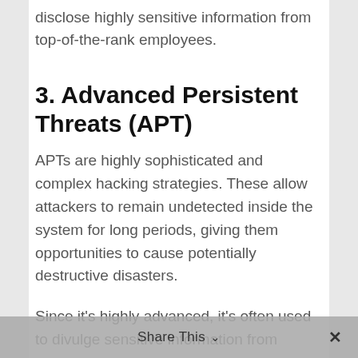disclose highly sensitive information from top-of-the-rank employees.
3. Advanced Persistent Threats (APT)
APTs are highly sophisticated and complex hacking strategies. These allow attackers to remain undetected inside the system for long periods, giving them opportunities to cause potentially destructive disasters.
Since it's highly advanced, it's often used to divulge sensitive information from
Share This